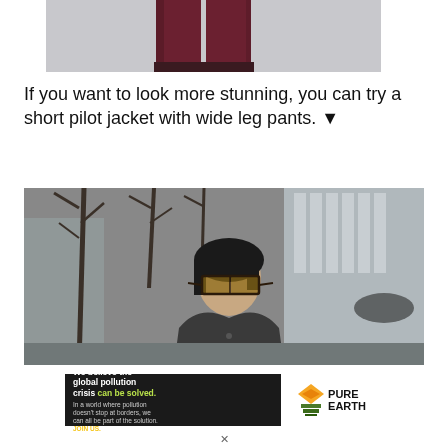[Figure (photo): Cropped photo showing lower body with dark burgundy/wine colored pants against a light background]
If you want to look more stunning, you can try a short pilot jacket with wide leg pants. ▼
[Figure (photo): Street style photo of an Asian woman with short black hair wearing large square sunglasses and a dark pilot/bomber jacket, standing outdoors with bare trees and buildings in the background]
[Figure (other): Pure Earth advertisement banner: 'We believe the global pollution crisis can be solved. In a world where pollution doesn't stop at borders, we can all be part of the solution. JOIN US.' with Pure Earth logo]